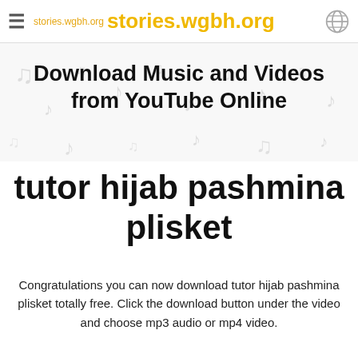stories.wgbh.org   stories.wgbh.org
[Figure (screenshot): Background with faint musical note icons on a white/light gray background]
Download Music and Videos from YouTube Online
tutor hijab pashmina plisket
Congratulations you can now download tutor hijab pashmina plisket totally free. Click the download button under the video and choose mp3 audio or mp4 video.